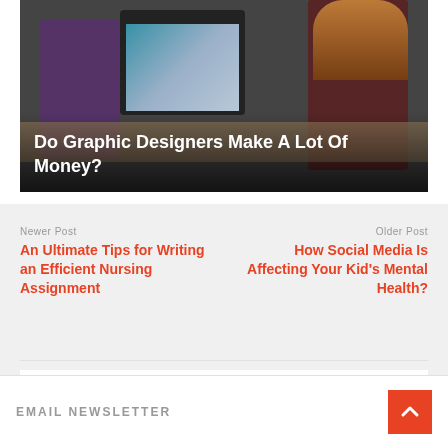[Figure (photo): Students working at computers in a classroom setting. A large monitor shows a design application with colorful elements on a teal background. One student with purple top is visible on the left, another with long reddish hair is on the right.]
Do Graphic Designers Make A Lot Of Money?
Newer Post
An Ultimate Tips for Writing an Efficient Nursing Assignment
Older Post
How Social Media Is Affecting Your Kid's Mental Health?
EMAIL NEWSLETTER